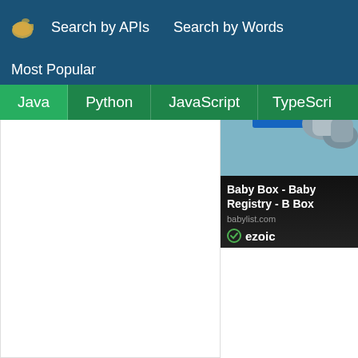Search by APIs  Search by Words  Most Popular
Java  Python  JavaScript  TypeScript
[Figure (screenshot): Ad panel showing gift boxes image with text 'Baby Box - Baby Registry - Box', domain 'babylist.com', and ezoic badge]